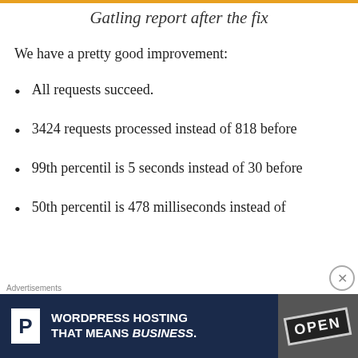Gatling report after the fix
We have a pretty good improvement:
All requests succeed.
3424 requests processed instead of 818 before
99th percentil is 5 seconds instead of 30 before
50th percentil is 478 milliseconds instead of
[Figure (screenshot): Advertisement banner: WordPress Hosting That Means Business with a P logo and an OPEN sign image]